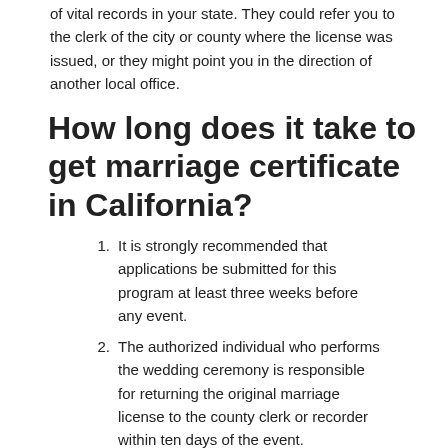of vital records in your state. They could refer you to the clerk of the city or county where the license was issued, or they might point you in the direction of another local office.
How long does it take to get marriage certificate in California?
It is strongly recommended that applications be submitted for this program at least three weeks before any event.
The authorized individual who performs the wedding ceremony is responsible for returning the original marriage license to the county clerk or recorder within ten days of the event.
Your license will be converted into a marriage certificate as soon as it is received and recorded by the appropriate authorities.
How do I get a copy of my marriage